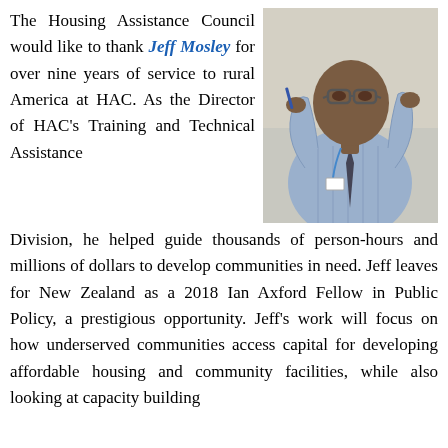The Housing Assistance Council would like to thank Jeff Mosley for over nine years of service to rural America at HAC. As the Director of HAC's Training and Technical Assistance Division, he helped guide thousands of person-hours and millions of dollars to develop communities in need. Jeff leaves for New Zealand as a 2018 Ian Axford Fellow in Public Policy, a prestigious opportunity. Jeff's work will focus on how underserved communities access capital for developing affordable housing and community facilities, while also looking at capacity building
[Figure (photo): Photo of Jeff Mosley, an African American man wearing a light blue checkered shirt and dark tie with a lanyard/badge, gesturing with his hands while speaking, holding a pen.]